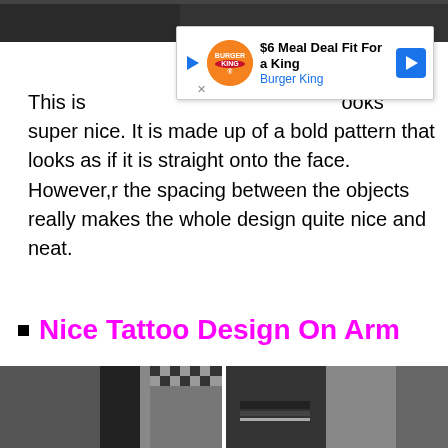[Figure (photo): Top black and white photo strip showing partial view]
[Figure (screenshot): Burger King advertisement banner: '$6 Meal Deal Fit For a King' with Burger King logo and navigation arrow]
This is [ad overlay] looks super nice. It is made up of a bold pattern that looks as if it is straight onto the face. However,r the spacing between the objects really makes the whole design quite nice and neat.
Nice Tattoo Design On Arm
[Figure (photo): Two side-by-side black and white photos of arm tattoo designs]